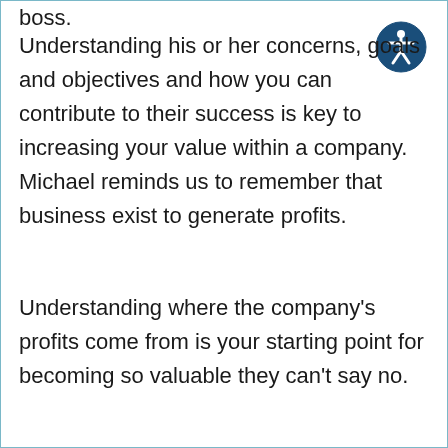boss.
Understanding his or her concerns, goals and objectives and how you can contribute to their success is key to increasing your value within a company. Michael reminds us to remember that business exist to generate profits.
Understanding where the company’s profits come from is your starting point for becoming so valuable they can’t say no.